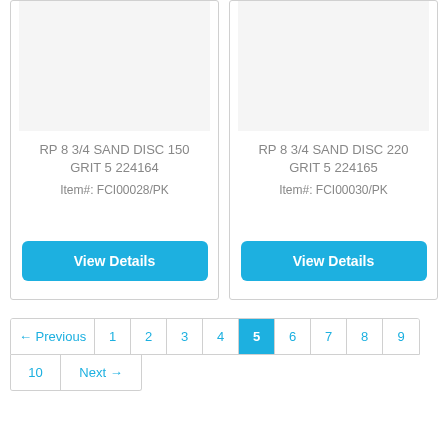[Figure (other): Product card placeholder image area for RP 8 3/4 SAND DISC 150 GRIT 5 224164]
RP 8 3/4 SAND DISC 150 GRIT 5 224164
Item#: FCI00028/PK
[Figure (other): Product card placeholder image area for RP 8 3/4 SAND DISC 220 GRIT 5 224165]
RP 8 3/4 SAND DISC 220 GRIT 5 224165
Item#: FCI00030/PK
← Previous
1
2
3
4
5
6
7
8
9
10
Next →